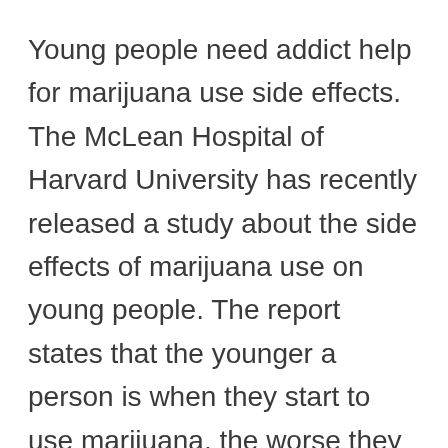Young people need addict help for marijuana use side effects. The McLean Hospital of Harvard University has recently released a study about the side effects of marijuana use on young people. The report states that the younger a person is when they start to use marijuana, the worse they perform on tasks that require planning, listening to instructions, and many other functions. In the study, children who have used marijuana before the age of 16 made twice as many mistakes in the tests as … [Read more…]